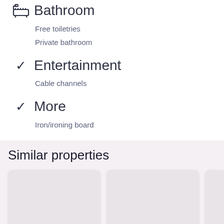Bathroom
Free toiletries
Private bathroom
Entertainment
Cable channels
More
Iron/ironing board
Similar properties
Tallwood Motel Wells
Wells
Motel 6 Portsmouth, NH
Portsmouth